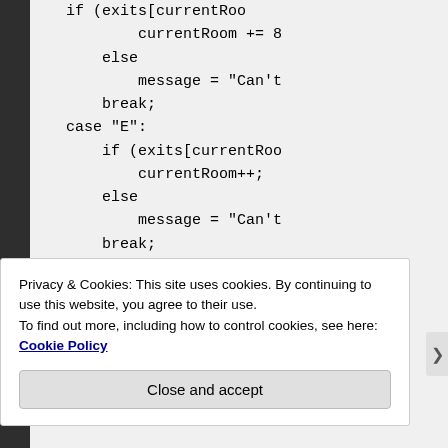[Figure (screenshot): Code snippet showing switch-case statements in a programming language. Shows cases for 'E' and 'W' directions with if/else logic for currentRoom++ and currentRoom--, and message assignments. Code is shown on a light grey background.]
Privacy & Cookies: This site uses cookies. By continuing to use this website, you agree to their use.
To find out more, including how to control cookies, see here: Cookie Policy
Close and accept